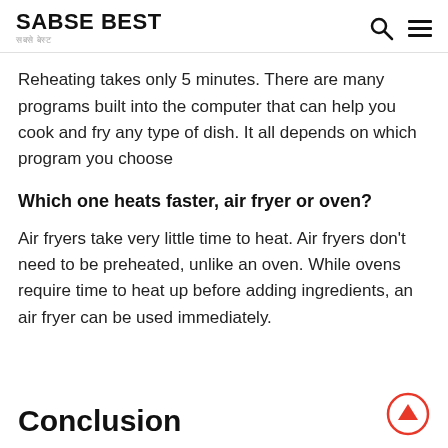SABSE BEST
Reheating takes only 5 minutes. There are many programs built into the computer that can help you cook and fry any type of dish. It all depends on which program you choose
Which one heats faster, air fryer or oven?
Air fryers take very little time to heat. Air fryers don't need to be preheated, unlike an oven. While ovens require time to heat up before adding ingredients, an air fryer can be used immediately.
Conclusion